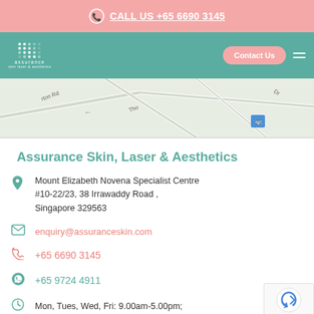CALL US +65 6690 3145
[Figure (screenshot): Assurance skin clinic website navigation bar with teal background, logo, Contact Us button, and hamburger menu]
[Figure (map): Partial Google Maps view showing street map near clinic location]
Assurance Skin, Laser & Aesthetics
Mount Elizabeth Novena Specialist Centre #10-22/23, 38 Irrawaddy Road , Singapore 329563
enquiry@assuranceskin.com
+65 6690 3145
+65 9724 4911
Mon, Tues, Wed, Fri: 9.00am-5.00pm;